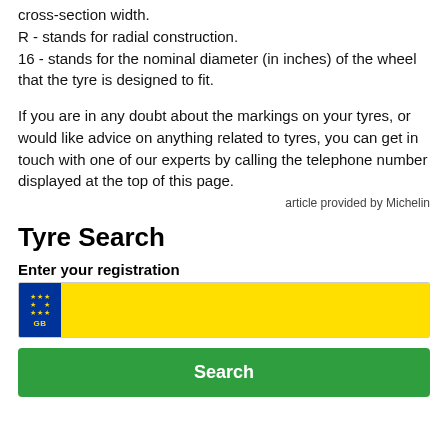cross-section width.
R - stands for radial construction.
16 - stands for the nominal diameter (in inches) of the wheel that the tyre is designed to fit.
If you are in any doubt about the markings on your tyres, or would like advice on anything related to tyres, you can get in touch with one of our experts by calling the telephone number displayed at the top of this page.
article provided by Michelin
Tyre Search
Enter your registration
[Figure (other): UK vehicle registration plate input field with EU blue strip showing stars and GB, and yellow input area]
[Figure (other): Green Search button]